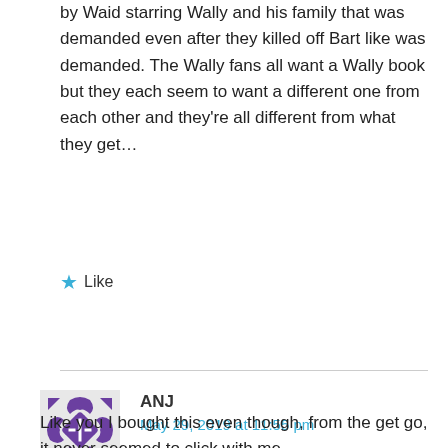by Waid starring Wally and his family that was demanded even after they killed off Bart like was demanded. The Wally fans all want a Wally book but they each seem to want a different one from each other and they're all different from what they get…
Like
ANJ
May 29, 2019 at 11:55 pm
Like you I bought this even though, from the get go, it never seemed to click with me.